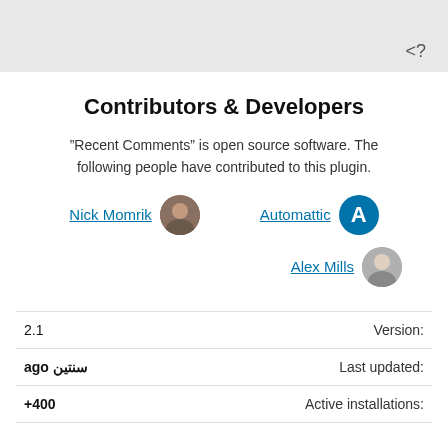[Figure (screenshot): Grey box with '<?' text in lower right]
Contributors & Developers
"Recent Comments" is open source software. The following people have contributed to this plugin.
Nick Momrik  Automattic
Alex Mills
| Label | Value |
| --- | --- |
| Version: | 1.2 |
| Last updated: | سنتين ago |
| Active installations: | +400 |